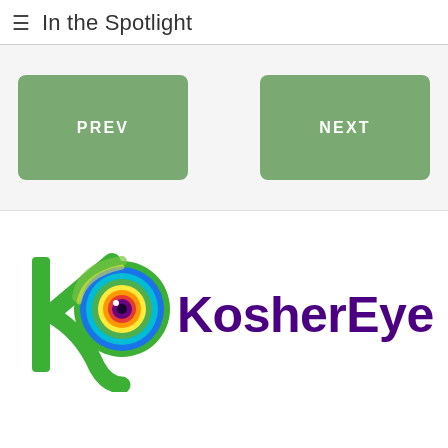In the Spotlight
[Figure (other): Navigation buttons: PREV (green rounded rectangle, left) and NEXT (green rounded rectangle, right)]
[Figure (logo): KosherEye logo: colorful swirl eye icon with green K shape on the left, and bold purple 'KosherEye' text on the right]